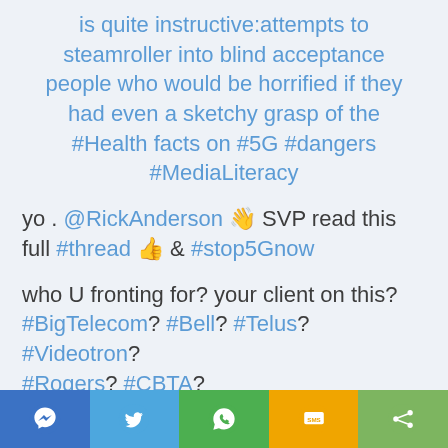is quite instructive:attempts to steamroller into blind acceptance people who would be horrified if they had even a sketchy grasp of the #Health facts on #5G #dangers #MediaLiteracy
yo . @RickAnderson 👋 SVP read this full #thread 👍 & #stop5Gnow
who U fronting for? your client on this? #BigTelecom? #Bell? #Telus? #Videotron? #Rogers? #CBTA?
[Figure (screenshot): Social sharing toolbar at the bottom with icons for Facebook Messenger (blue), Twitter (light blue), WhatsApp (green), SMS (yellow/orange), and Share (green)]